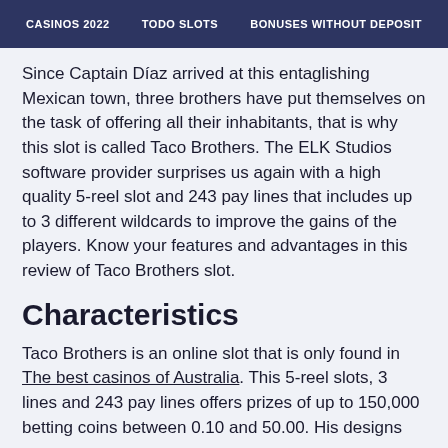CASINOS 2022   TODO SLOTS   BONUSES WITHOUT DEPOSIT
Since Captain Díaz arrived at this entaglishing Mexican town, three brothers have put themselves on the task of offering all their inhabitants, that is why this slot is called Taco Brothers. The ELK Studios software provider surprises us again with a high quality 5-reel slot and 243 pay lines that includes up to 3 different wildcards to improve the gains of the players. Know your features and advantages in this review of Taco Brothers slot.
Characteristics
Taco Brothers is an online slot that is only found in The best casinos of Australia. This 5-reel slots, 3 lines and 243 pay lines offers prizes of up to 150,000 betting coins between 0.10 and 50.00. His designs